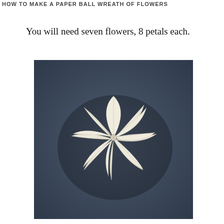HOW TO MAKE A PAPER BALL WREATH OF FLOWERS
You will need seven flowers, 8 petals each.
[Figure (photo): A paper flower with 8 cream/off-white petals folded and arranged in a circular pattern, photographed against a dark navy/slate blue background. The flower shows dimensional accordion-style folds radiating from the center.]